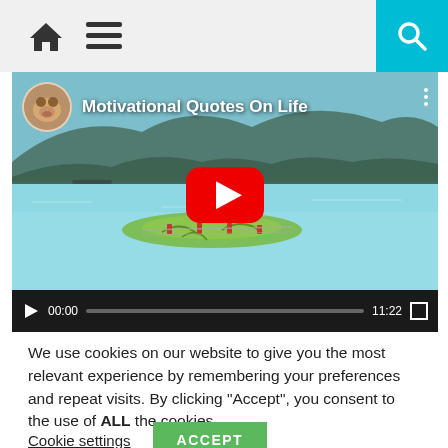Navigation bar with home icon, menu icon, and search button
[Figure (screenshot): YouTube-style video player showing 'Motivational Quotes On Life' video. Scene depicts a tropical ocean with a plant/decoration floating on calm turquoise water, mountains in background. Video title bar with circular avatar and text. Large red play button in center. Controls show 00:00 / 11:22.]
We use cookies on our website to give you the most relevant experience by remembering your preferences and repeat visits. By clicking "Accept", you consent to the use of ALL the cookies.
Cookie settings    ACCEPT